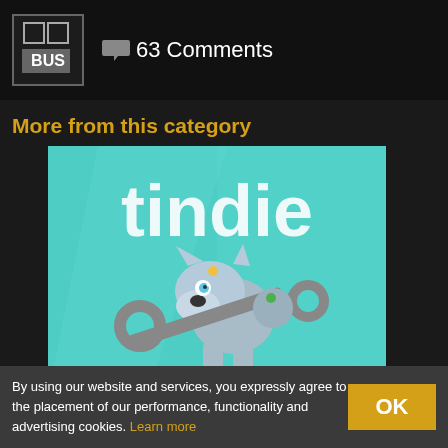[Figure (logo): PC Bus logo — two chip outlines on top, BUS label below, in a square border]
63 Comments
More from this category
[Figure (illustration): Tindie mascot — a robot dog holding a wrench in its mouth, on a teal/turquoise background with the word 'tindie' in large white text and 'Made By Makers' partially visible at the bottom]
By using our website and services, you expressly agree to the placement of our performance, functionality and advertising cookies. Learn more
OK